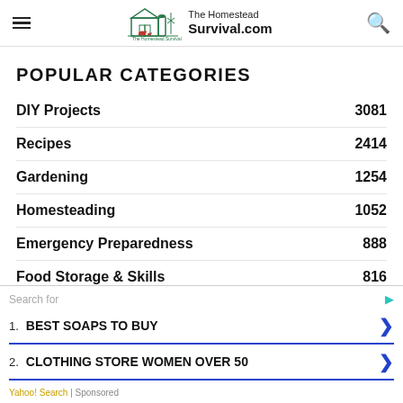The Homestead Survival.com
POPULAR CATEGORIES
DIY Projects 3081
Recipes 2414
Gardening 1254
Homesteading 1052
Emergency Preparedness 888
Food Storage & Skills 816
Search for
1. BEST SOAPS TO BUY
2. CLOTHING STORE WOMEN OVER 50
Yahoo! Search | Sponsored